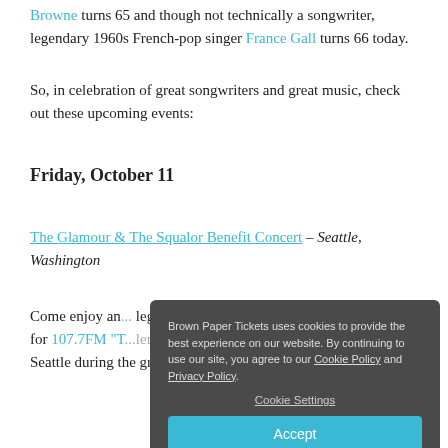Browne turns 65 and though not technically a songwriter, legendary 1960s French-pop singer France Gall turns 66 today.
So, in celebration of great songwriters and great music, check out these upcoming events:
Friday, October 11
The Glamour & The Squalor Benefit Concert – Seattle, Washington
Come enjoy an ... legendary Seattle DJ ... as (DJ) for 107.7FM "T... Seattle during the grunge explosion of the early 90s